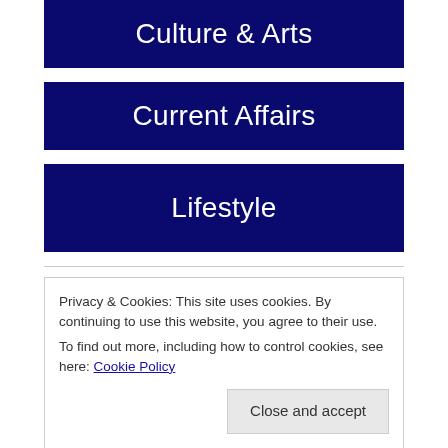Culture & Arts
Current Affairs
Lifestyle
Privacy & Cookies: This site uses cookies. By continuing to use this website, you agree to their use.
To find out more, including how to control cookies, see here: Cookie Policy
Close and accept
Our YouTube Channel